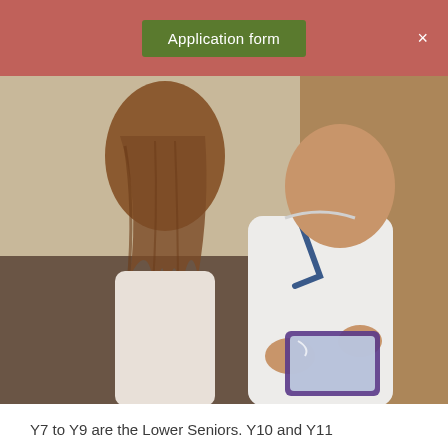Application form
[Figure (photo): Two students sitting together, one with long brown hair viewed from behind, the other in a white school shirt with a blue lanyard, holding a tablet device]
Senior School
Y7 to Y11 are taught by specialist teachers in classes with a maximum size of 12 pupils, except for PE where larger groups are an advantage.
Y7 to Y9 are the Lower Seniors. Y10 and Y11